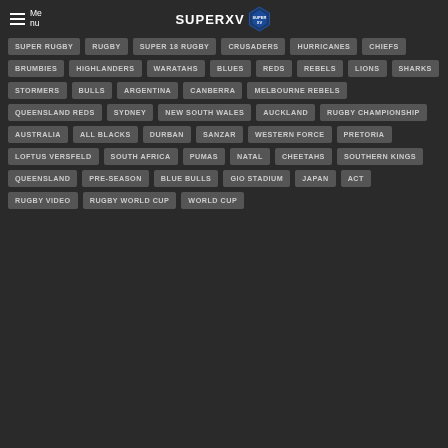Menu | SUPERXV
SUPER RUGBY
RUGBY
SUPER 18 RUGBY
CRUSADERS
HURRICANES
CHIEFS
BRUMBIES
HIGHLANDERS
WARATAHS
BLUES
REDS
REBELS
LIONS
SHARKS
STORMERS
BULLS
ARGENTINA
CANBERRA
MELBOURNE REBELS
QUEENSLAND REDS
SYDNEY
NEW SOUTH WALES
AUCKLAND
RUGBY CHAMPIONSHIP
AUSTRALIA
ALL BLACKS
DURBAN
SANZAR
WESTERN FORCE
PRETORIA
LOFTUS VERSFELD
SOUTH AFRICA
PUMAS
NATAL
CHEETAHS
SOUTHERN KINGS
QUEENSLAND
PRE-SEASON
BLUE BULLS
GIO STADIUM
JAPAN
ACT
RUGBY VIDEO
RUGBY WORLD CUP
WORLD CUP